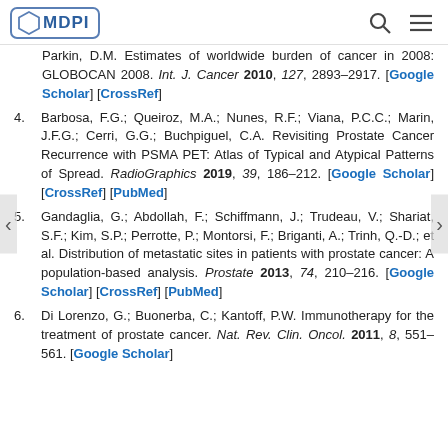MDPI
Parkin, D.M. Estimates of worldwide burden of cancer in 2008: GLOBOCAN 2008. Int. J. Cancer 2010, 127, 2893–2917. [Google Scholar] [CrossRef]
4. Barbosa, F.G.; Queiroz, M.A.; Nunes, R.F.; Viana, P.C.C.; Marin, J.F.G.; Cerri, G.G.; Buchpiguel, C.A. Revisiting Prostate Cancer Recurrence with PSMA PET: Atlas of Typical and Atypical Patterns of Spread. RadioGraphics 2019, 39, 186–212. [Google Scholar] [CrossRef] [PubMed]
5. Gandaglia, G.; Abdollah, F.; Schiffmann, J.; Trudeau, V.; Shariat, S.F.; Kim, S.P.; Perrotte, P.; Montorsi, F.; Briganti, A.; Trinh, Q.-D.; et al. Distribution of metastatic sites in patients with prostate cancer: A population-based analysis. Prostate 2013, 74, 210–216. [Google Scholar] [CrossRef] [PubMed]
6. Di Lorenzo, G.; Buonerba, C.; Kantoff, P.W. Immunotherapy for the treatment of prostate cancer. Nat. Rev. Clin. Oncol. 2011, 8, 551–561. [Google Scholar]